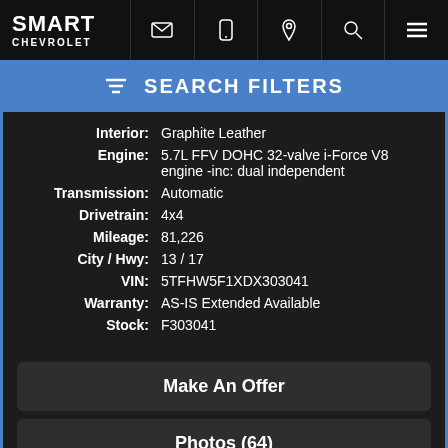SMART CHEVROLET
SEARCH FILTERS
| Label | Value |
| --- | --- |
| Interior: | Graphite Leather |
| Engine: | 5.7L FFV DOHC 32-valve i-Force V8 engine -inc: dual independent |
| Transmission: | Automatic |
| Drivetrain: | 4x4 |
| Mileage: | 81,226 |
| City / Hwy: | 13 / 17 |
| VIN: | 5TFHW5F1XDX303041 |
| Warranty: | AS-IS Extended Available |
| Stock: | F303041 |
Make An Offer
Photos (64)
[Figure (logo): SHOW ME THE CARFAX logo]